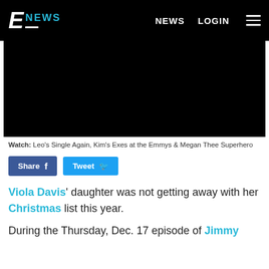E NEWS | NEWS | LOGIN
[Figure (photo): Black video player area]
Watch: Leo's Single Again, Kim's Exes at the Emmys & Megan Thee Superhero
Share | Tweet
Viola Davis' daughter was not getting away with her Christmas list this year.
During the Thursday, Dec. 17 episode of Jimmy